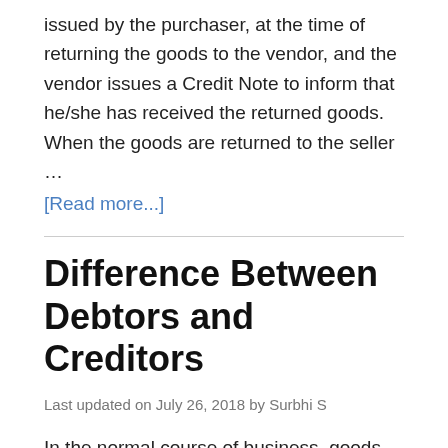issued by the purchaser, at the time of returning the goods to the vendor, and the vendor issues a Credit Note to inform that he/she has received the returned goods. When the goods are returned to the seller ...
[Read more...]
Difference Between Debtors and Creditors
Last updated on July 26, 2018 by Surbhi S
In the normal course of business, goods are bought and sold on credit, which is not a new